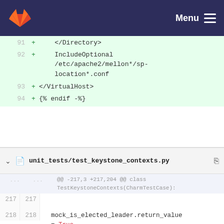GitLab  Menu
[Figure (screenshot): Diff view showing lines 91-94 with added lines in green: </Directory>, IncludeOptional /etc/apache2/mellon*/sp-location*.conf, </VirtualHost>, {% endif -%}]
unit_tests/test_keystone_contexts.py
[Figure (screenshot): Diff view for unit_tests/test_keystone_contexts.py showing hunk @@ -217,3 +217,204 @@ class TestKeystoneContexts(CharmTestCase): with lines 217-221 including mock_is_elected_leader.return_value = True, self.assertEqual({'token_flush': True}, ctxt()), and new added lines 220 + and 221 + @patch.object(context,]